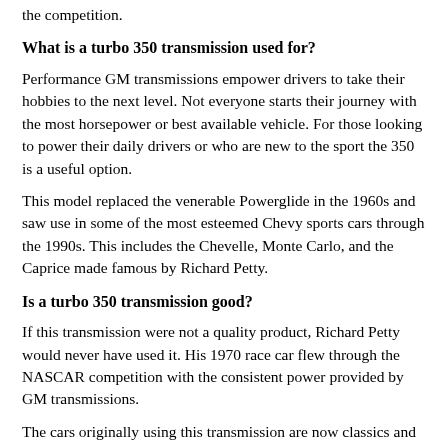the competition.
What is a turbo 350 transmission used for?
Performance GM transmissions empower drivers to take their hobbies to the next level. Not everyone starts their journey with the most horsepower or best available vehicle. For those looking to power their daily drivers or who are new to the sport the 350 is a useful option.
This model replaced the venerable Powerglide in the 1960s and saw use in some of the most esteemed Chevy sports cars through the 1990s. This includes the Chevelle, Monte Carlo, and the Caprice made famous by Richard Petty.
Is a turbo 350 transmission good?
If this transmission were not a quality product, Richard Petty would never have used it. His 1970 race car flew through the NASCAR competition with the consistent power provided by GM transmissions.
The cars originally using this transmission are now classics and sleepers. Drag racers love the Caprice for its large engine bay and stock power, continuing to tune up and race their cars into 2020.